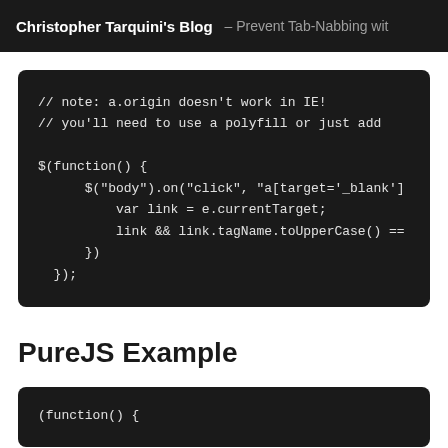Christopher Tarquini's Blog — Prevent Tab-Nabbing wit
// note: a.origin doesn't work in IE!
// you'll need to use a polyfill or just add 

$(function() {
    $("body").on("click", "a[target='_blank'
        var link = e.currentTarget;
        link && link.tagName.toUpperCase() ==
    })
});
PureJS Example
(function() {